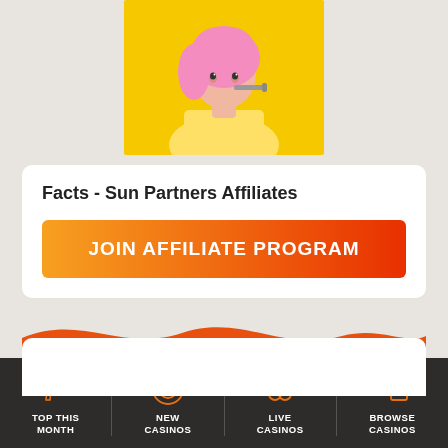[Figure (illustration): Animated/cartoon woman with pink hair and yellow outfit on yellow background, shown from shoulders up, holding something to her lips]
Facts - Sun Partners Affiliates
JOIN AFFILIATE PROGRAM
Sun Partners Affiliates
Overall Rating
TOP THIS MONTH | NEW CASINOS | LIVE CASINOS | BROWSE CASINOS